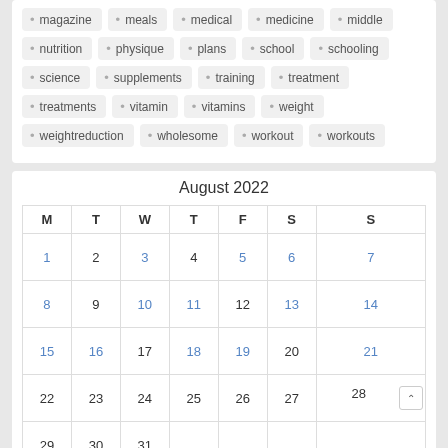magazine
meals
medical
medicine
middle
nutrition
physique
plans
school
schooling
science
supplements
training
treatment
treatments
vitamin
vitamins
weight
weightreduction
wholesome
workout
workouts
August 2022
| M | T | W | T | F | S | S |
| --- | --- | --- | --- | --- | --- | --- |
| 1 | 2 | 3 | 4 | 5 | 6 | 7 |
| 8 | 9 | 10 | 11 | 12 | 13 | 14 |
| 15 | 16 | 17 | 18 | 19 | 20 | 21 |
| 22 | 23 | 24 | 25 | 26 | 27 | 28 |
| 29 | 30 | 31 |  |  |  |  |